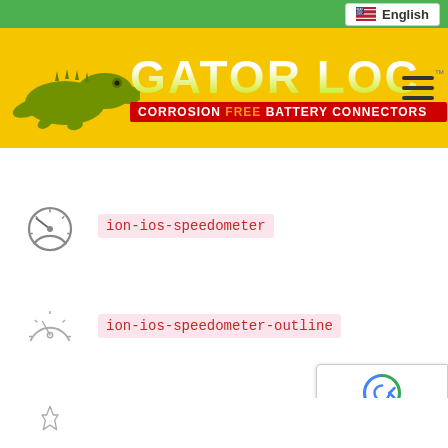English
[Figure (logo): Gator Loc logo — yellow banner with green gator silhouette and text GATOR LOC, tagline CORROSION FREE BATTERY CONNECTORS]
ion-ios-speedometer
ion-ios-speedometer-outline
ion-ios-star
[Figure (other): Google reCAPTCHA badge with Privacy and Terms links]